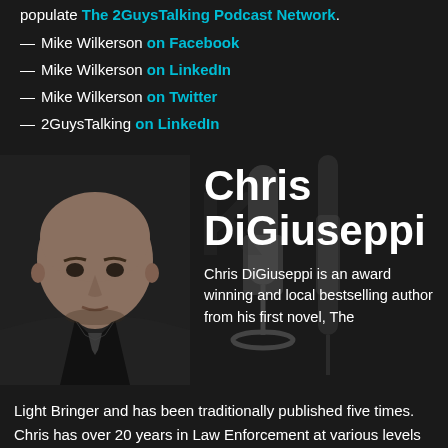populate The 2GuysTalking Podcast Network.
— Mike Wilkerson on Facebook
— Mike Wilkerson on LinkedIn
— Mike Wilkerson on Twitter
— 2GuysTalking on LinkedIn
[Figure (photo): Headshot photo of Chris DiGiuseppi, a bald man in a dark suit jacket, looking directly at camera against a dark background.]
Chris DiGiuseppi
Chris DiGiuseppi is an award winning and local bestselling author from his first novel, The Light Bringer and has been traditionally published five times. Chris has over 20 years in Law Enforcement at various levels up to and including Assistant Chief of Police. He is a graduate of the FBI National Academy and Northwestern University School